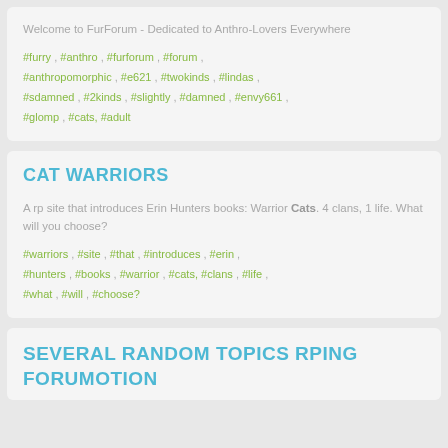Welcome to FurForum - Dedicated to Anthro-Lovers Everywhere
#furry , #anthro , #furforum , #forum , #anthropomorphic , #e621 , #twokinds , #lindas , #sdamned , #2kinds , #slightly , #damned , #envy661 , #glomp , #cats, #adult
CAT WARRIORS
A rp site that introduces Erin Hunters books: Warrior Cats. 4 clans, 1 life. What will you choose?
#warriors , #site , #that , #introduces , #erin , #hunters , #books , #warrior , #cats, #clans , #life , #what , #will , #choose?
SEVERAL RANDOM TOPICS RPING FORUMOTION